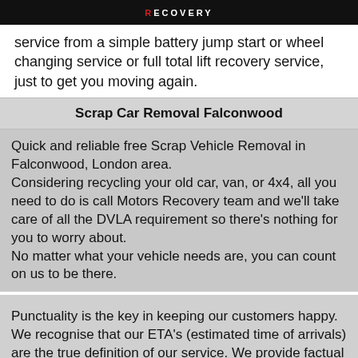RECOVERY
service from a simple battery jump start or wheel changing service or full total lift recovery service, just to get you moving again.
Scrap Car Removal Falconwood
Quick and reliable free Scrap Vehicle Removal in Falconwood, London area. Considering recycling your old car, van, or 4x4, all you need to do is call Motors Recovery team and we'll take care of all the DVLA requirement so there's nothing for you to worry about. No matter what your vehicle needs are, you can count on us to be there.
Punctuality is the key in keeping our customers happy. We recognise that our ETA's (estimated time of arrivals) are the true definition of our service. We provide factual ETA's at primary contact with each customer. Available 24hrs a day, 7 days a week, is only limited by weather and road conditions and we will always keep the customer updated.